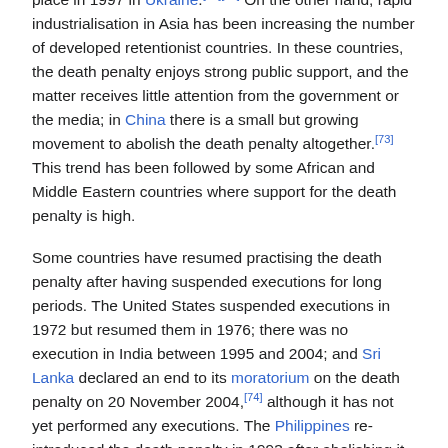member states not to practise the death penalty (see Capital punishment in Europe). Public support for the death penalty in the EU varies.[70] The last execution on the present day territory of the Council of Europe took place in 1997 in Ukraine.[71][72] On the other hand, rapid industrialisation in Asia has been increasing the number of developed retentionist countries. In these countries, the death penalty enjoys strong public support, and the matter receives little attention from the government or the media; in China there is a small but growing movement to abolish the death penalty altogether.[73] This trend has been followed by some African and Middle Eastern countries where support for the death penalty is high.
Some countries have resumed practising the death penalty after having suspended executions for long periods. The United States suspended executions in 1972 but resumed them in 1976; there was no execution in India between 1995 and 2004; and Sri Lanka declared an end to its moratorium on the death penalty on 20 November 2004,[74] although it has not yet performed any executions. The Philippines re-introduced the death penalty in 1993 after abolishing it in 1987, but abolished it again in 2006.